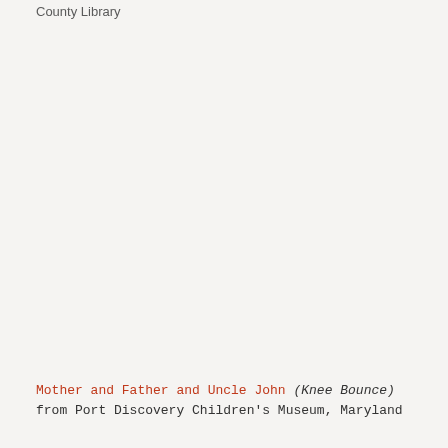County Library
Mother and Father and Uncle John (Knee Bounce) from Port Discovery Children's Museum, Maryland